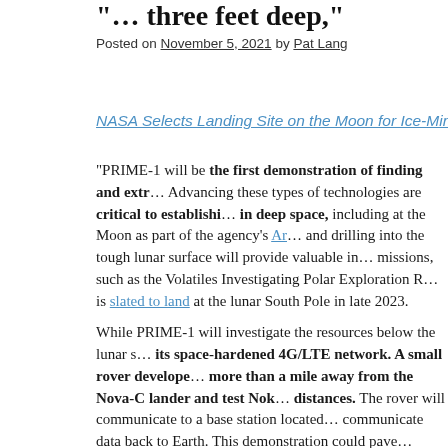"… three feet deep,"
Posted on November 5, 2021 by Pat Lang
NASA Selects Landing Site on the Moon for Ice-Mining…
"PRIME-1 will be the first demonstration of finding and extr… Advancing these types of technologies are critical to establishing… in deep space, including at the Moon as part of the agency's Ar… and drilling into the tough lunar surface will provide valuable in… missions, such as the Volatiles Investigating Polar Exploration R… is slated to land at the lunar South Pole in late 2023.
While PRIME-1 will investigate the resources below the lunar s… its space-hardened 4G/LTE network. A small rover develope… more than a mile away from the Nova-C lander and test Nok… distances. The rover will communicate to a base station located… communicate data back to Earth. This demonstration could pave… system for mission-critical communications on the lunar surface… and even high-definition video streaming from astronauts to… stations, and more.